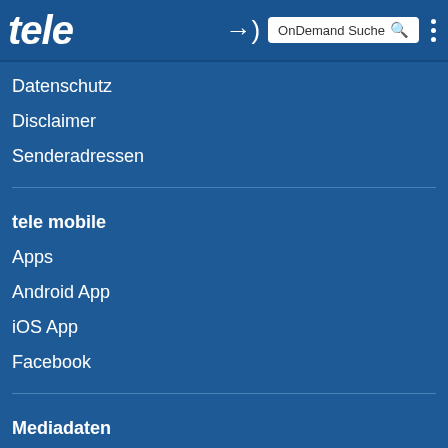tele | OnDemand Suche
Datenschutz
Disclaimer
Senderadressen
tele mobile
Apps
Android App
iOS App
Facebook
Mediadaten
media.tele.at
Trägermedien
Tarife Online
Tarife Print